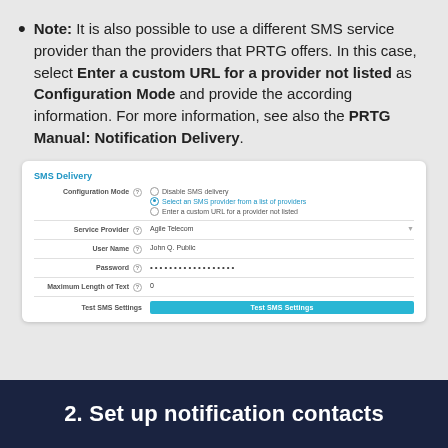Note: It is also possible to use a different SMS service provider than the providers that PRTG offers. In this case, select Enter a custom URL for a provider not listed as Configuration Mode and provide the according information. For more information, see also the PRTG Manual: Notification Delivery.
[Figure (screenshot): SMS Delivery settings panel showing Configuration Mode radio buttons (Disable SMS delivery, Select an SMS provider from a list of providers [selected], Enter a custom URL for a provider not listed), Service Provider dropdown (Agile Telecom), User Name field (John Q. Public), Password field (hidden), Maximum Length of Text field (0), and Test SMS Settings button.]
2. Set up notification contacts